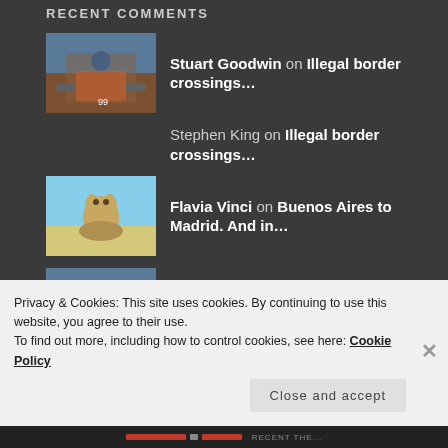RECENT COMMENTS
Stuart Goodwin on Illegal border crossings…
Stephen King on Illegal border crossings…
Flavia Vinci on Buenos Aires to Madrid. And in…
Stuart Goodwin on Basque country to Berlin
Stuart Goodwin on Basque country to Berlin
Privacy & Cookies: This site uses cookies. By continuing to use this website, you agree to their use. To find out more, including how to control cookies, see here: Cookie Policy
Close and accept